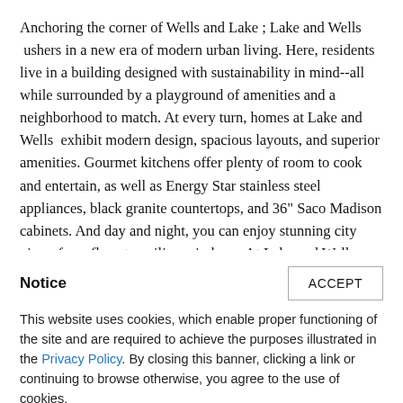Anchoring the corner of Wells and Lake ; Lake and Wells ushers in a new era of modern urban living. Here, residents live in a building designed with sustainability in mind--all while surrounded by a playground of amenities and a neighborhood to match. At every turn, homes at Lake and Wells exhibit modern design, spacious layouts, and superior amenities. Gourmet kitchens offer plenty of room to cook and entertain, as well as Energy Star stainless steel appliances, black granite countertops, and 36" Saco Madison cabinets. And day and night, you can enjoy stunning city views from floor-to-ceiling windows. At Lake and Wells , you'll find an indoor oasis, complete with a state-of-the-art fitness center,
Notice
This website uses cookies, which enable proper functioning of the site and are required to achieve the purposes illustrated in the Privacy Policy. By closing this banner, clicking a link or continuing to browse otherwise, you agree to the use of cookies.